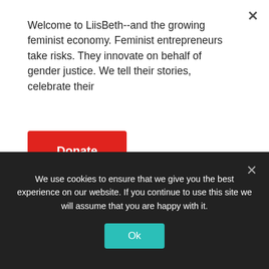Welcome to LiisBeth--and the growing feminist economy. Feminist entrepreneurs take risks. They innovate on behalf of gender justice. We tell their stories, celebrate their
Donate
[Figure (photo): Outdoor photo of a person standing near wooden fence posts and a tree, with stone wall on left and grassy field in background.]
Sarah Kaplan, Author, The 360° Corporation: From Stakeholder Trade-offs to Transformation
We use cookies to ensure that we give you the best experience on our website. If you continue to use this site we will assume that you are happy with it.
Ok